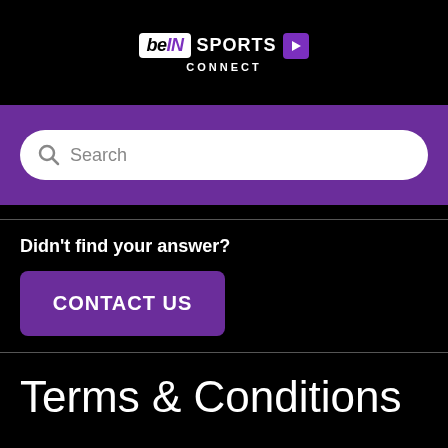[Figure (logo): beIN SPORTS CONNECT logo with play button on black background]
[Figure (screenshot): Purple search bar with magnifying glass icon and placeholder text Search]
Didn't find your answer?
CONTACT US
Terms & Conditions